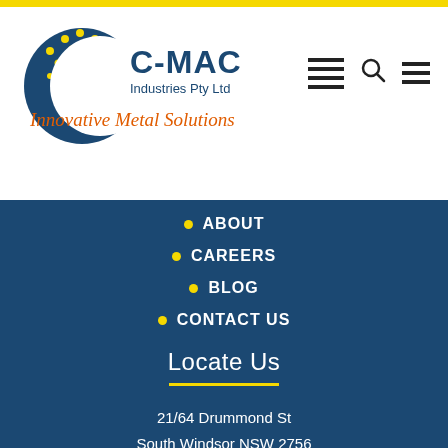[Figure (logo): C-MAC Industries Pty Ltd logo with blue crescent/globe shape, yellow dots, blue and yellow text 'C-MAC Industries Pty Ltd' and orange italic text 'Innovative Metal Solutions']
ABOUT
CAREERS
BLOG
CONTACT US
Locate Us
21/64 Drummond St
South Windsor NSW 2756